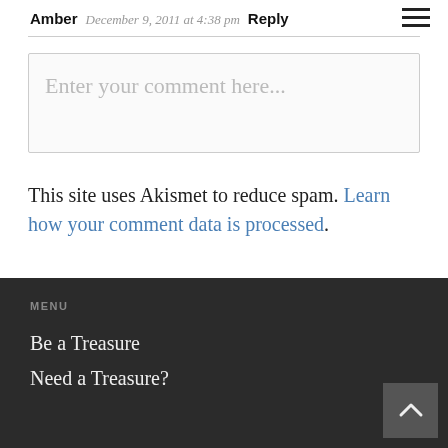Amber  December 9, 2011 at 4:38 pm  Reply
[Figure (other): Hamburger menu icon (three horizontal lines)]
[Figure (other): Comment input text box with placeholder text 'Enter your comment here...']
This site uses Akismet to reduce spam. Learn how your comment data is processed.
MENU
Be a Treasure
Need a Treasure?